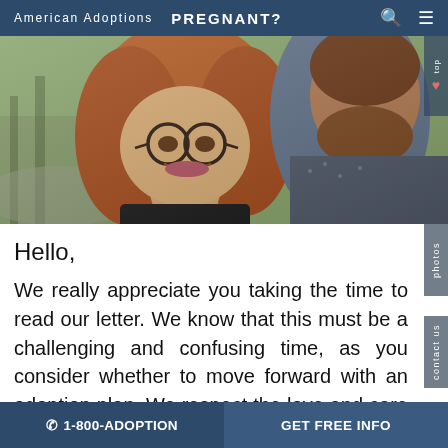American Adoptions  PREGNANT?
[Figure (photo): Couple taking an outdoor selfie. Woman with red hair and glasses smiling, man with beard partially visible, trees and road in background.]
Hello,
We really appreciate you taking the time to read our letter. We know that this must be a challenging and confusing time, as you consider whether to move forward with an adoption plan. We respect the love and care that you are putting into this decision, and we know you want what is best for your child
☎ 1-800-ADOPTION    GET FREE INFO